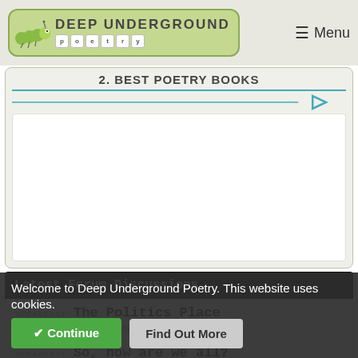Deep Underground Poetry — Menu
2. BEST POETRY BOOKS
[Figure (screenshot): White content area below Best Poetry Books heading with teal play icon]
Latest Forum Discussions
SPEAKEASY The Politics Place
Today 2:23pm by Strangeways_Rob
SPEAKEASY So, how are we all?
Today 2:20pm by Wafflenose
COMPETITIONS STO... AT...
Today 2:16pm by Strange...
Welcome to Deep Underground Poetry. This website uses cookies.
✔ Continue   Find Out More